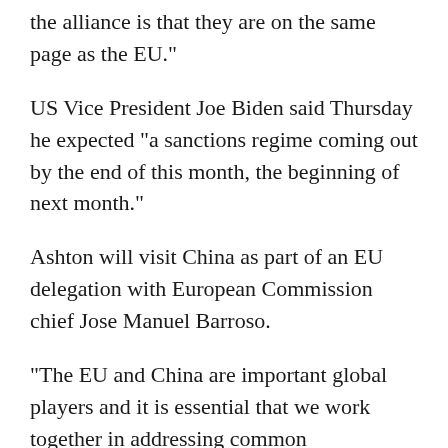the alliance is that they are on the same page as the EU."
US Vice President Joe Biden said Thursday he expected "a sanctions regime coming out by the end of this month, the beginning of next month."
Ashton will visit China as part of an EU delegation with European Commission chief Jose Manuel Barroso.
"The EU and China are important global players and it is essential that we work together in addressing common challenges," Barroso said in a statement.
The EU delegation will also participate in the